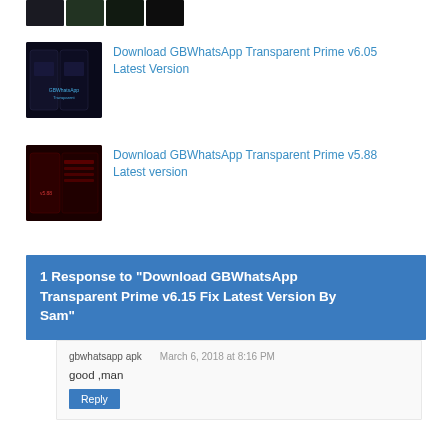[Figure (photo): Row of four small thumbnail images at the top of the page]
[Figure (photo): Thumbnail of GBWhatsApp Transparent Prime app screenshot with dark space-like background]
Download GBWhatsApp Transparent Prime v6.05 Latest Version
[Figure (photo): Thumbnail of GBWhatsApp Transparent Prime v5.88 app screenshot with dark red background]
Download GBWhatsApp Transparent Prime v5.88 Latest version
1 Response to "Download GBWhatsApp Transparent Prime v6.15 Fix Latest Version By Sam"
gbwhatsapp apk
March 6, 2018 at 8:16 PM
good ,man